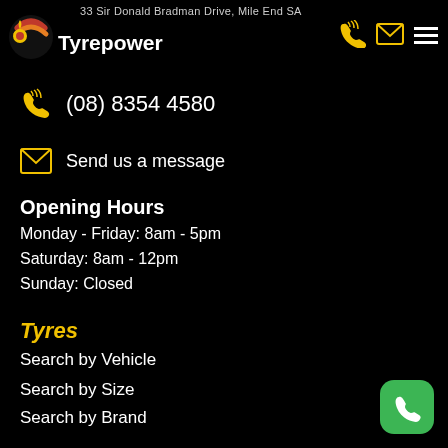33 Sir Donald Bradman Drive, Mile End SA
[Figure (logo): Tyrepower logo with circular red/yellow icon and white text]
(08) 8354 4580
Send us a message
Opening Hours
Monday - Friday: 8am - 5pm
Saturday: 8am - 12pm
Sunday: Closed
Tyres
Search by Vehicle
Search by Size
Search by Brand
Tyre Care
Tyre Tips